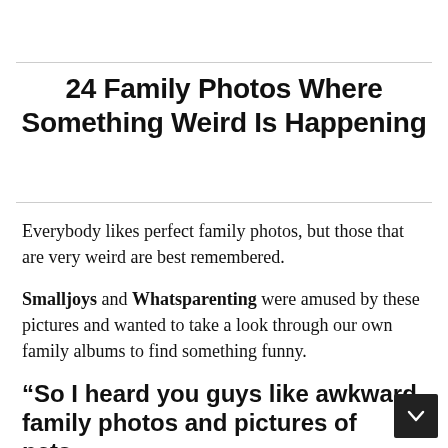24 Family Photos Where Something Weird Is Happening
Everybody likes perfect family photos, but those that are very weird are best remembered.
Smalljoys and Whatsparenting were amused by these pictures and wanted to take a look through our own family albums to find something funny.
“So I heard you guys like awkward family photos and pictures of pets...